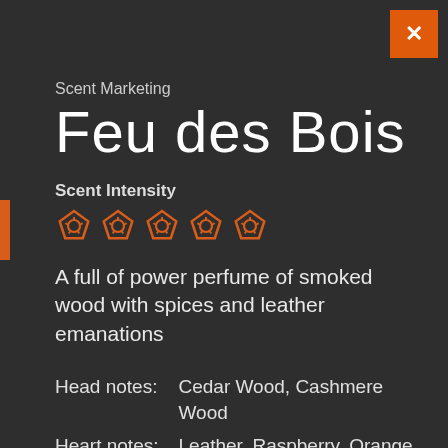Scent Marketing
Feu des Bois
Scent Intensity
[Figure (illustration): Five orange pentagon/flower shaped scent intensity icons in a row]
A full of power perfume of smoked wood with spices and leather emanations
| Head notes: | Cedar Wood, Cashmere Wood |
| Heart notes: | Leather, Raspberry, Orange Blossom, Saffron |
| Base notes: | Dry Wood, Styrax, Musk, |